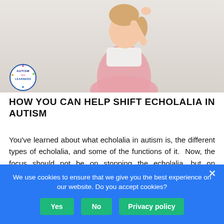[Figure (photo): Young toddler girl in a pink gingham dress reaching upward with one arm, photographed against a light background. Autism Little Learners logo circle in bottom left of image.]
HOW YOU CAN HELP SHIFT ECHOLALIA IN AUTISM
You've learned about what echolalia in autism is, the different types of echolalia, and some of the functions of it.  Now, the focus should not be on stopping the echolalia, but on expanding language so you can build a bridge to spontaneous language.  I would definitely
We use cookies to ensure that we give you the best experience on our website. Do you accept cookies?
Yes   No   Privacy policy